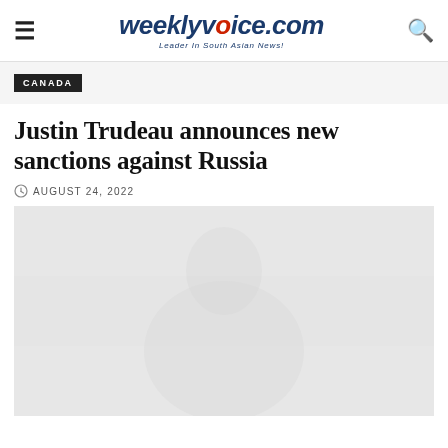weeklyvoice.com — Leader In South Asian News!
CANADA
Justin Trudeau announces new sanctions against Russia
AUGUST 24, 2022
[Figure (photo): A faded/watermarked photo of Justin Trudeau, appearing very light grey against a light background.]